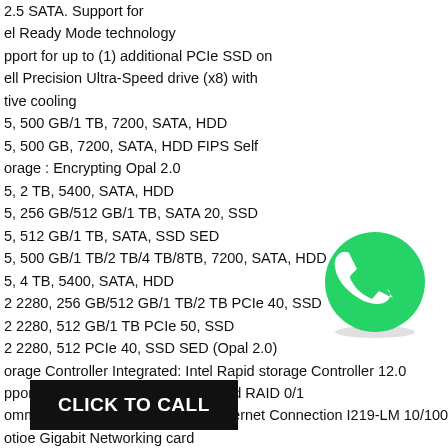2.5 SATA. Support for
el Ready Mode technology
pport for up to (1) additional PCIe SSD on
ell Precision Ultra-Speed drive (x8) with
tive cooling
5, 500 GB/1 TB, 7200, SATA, HDD
5, 500 GB, 7200, SATA, HDD FIPS Self
orage : Encrypting Opal 2.0
5, 2 TB, 5400, SATA, HDD
5, 256 GB/512 GB/1 TB, SATA 20, SSD
5, 512 GB/1 TB, SATA, SSD SED
5, 500 GB/1 TB/2 TB/4 TB/8TB, 7200, SATA, HDD
5, 4 TB, 5400, SATA, HDD
2 2280, 256 GB/512 GB/1 TB/2 TB PCIe 40, SSD
2 2280, 512 GB/1 TB PCIe 50, SSD
2 2280, 512 PCIe 40, SSD SED (Opal 2.0)
orage Controller Integrated: Intel Rapid storage Controller 12.0
pporting SATA 6Gb/s and host based RAID 0/1
ommunications Integrated: Intel Ethernet Connection I219-LM 10/100/1000
otio... e Gigabit Networking card
ua... GbE NIC Adapter
otional: Wireless / Bluetooth W/ vPro support
[Figure (logo): WhatsApp green phone icon logo]
CLICK TO CALL